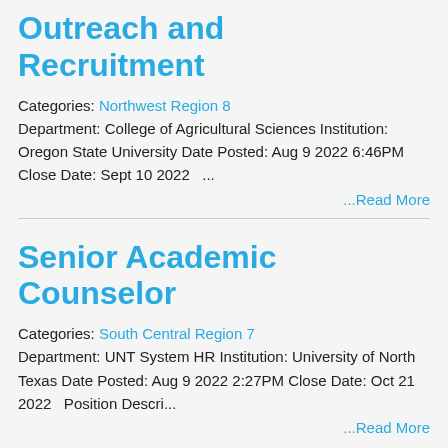Outreach and Recruitment
Categories: Northwest Region 8 Department: College of Agricultural Sciences Institution: Oregon State University Date Posted: Aug 9 2022 6:46PM Close Date: Sept 10 2022   ...
...Read More
Senior Academic Counselor
Categories: South Central Region 7 Department: UNT System HR Institution: University of North Texas Date Posted: Aug 9 2022 2:27PM Close Date: Oct 21 2022  Position Descri...
...Read More